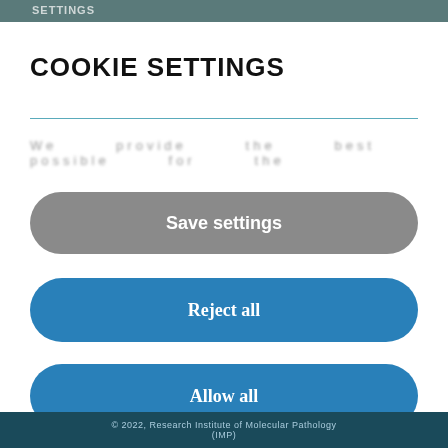SETTINGS
COOKIE SETTINGS
We use cookies to provide you with the best possible experience for the...
Save settings
Reject all
Allow all
© 2022, Research Institute of Molecular Pathology (IMP)